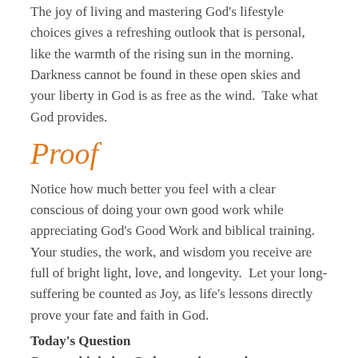The joy of living and mastering God's lifestyle choices gives a refreshing outlook that is personal, like the warmth of the rising sun in the morning.  Darkness cannot be found in these open skies and your liberty in God is as free as the wind.  Take what God provides.
Proof
Notice how much better you feel with a clear conscious of doing your own good work while appreciating God's Good Work and biblical training.  Your studies, the work, and wisdom you receive are full of bright light, love, and longevity.  Let your long-suffering be counted as Joy, as life's lessons directly prove your fate and faith in God.
Today's Question
Do you think that God appreciates an honest, obedient